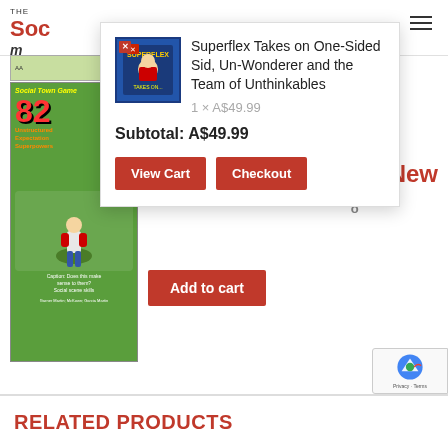[Figure (screenshot): Website header with The Social Mind logo (partially visible) and hamburger menu icon on right]
[Figure (photo): Book cover: Social Town Game 82, green background with superhero character]
82 New
[Figure (screenshot): Cart dropdown popup showing: Superflex Takes on One-Sided Sid, Un-Wonderer and the Team of Unthinkables, 1 x A$49.99, Subtotal: A$49.99, with View Cart and Checkout buttons]
Superflex Takes on One-Sided Sid, Un-Wonderer and the Team of Unthinkables
1 × A$49.99
Subtotal: A$49.99
View Cart
Checkout
Add to cart
RELATED PRODUCTS